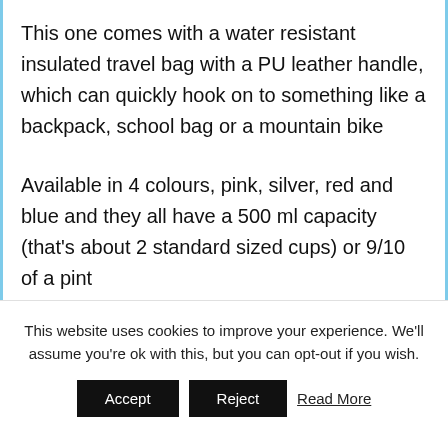This one comes with a water resistant insulated travel bag with a PU leather handle, which can quickly hook on to something like a backpack, school bag or a mountain bike
Available in 4 colours, pink, silver, red and blue and they all have a 500 ml capacity (that's about 2 standard sized cups) or 9/10 of a pint
This website uses cookies to improve your experience. We'll assume you're ok with this, but you can opt-out if you wish.